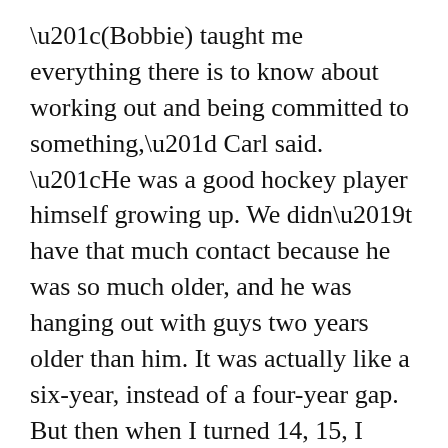“(Bobbie) taught me everything there is to know about working out and being committed to something,” Carl said. “He was a good hockey player himself growing up. We didn’t have that much contact because he was so much older, and he was hanging out with guys two years older than him. It was actually like a six-year, instead of a four-year gap. But then when I turned 14, 15, I started to realize all the time and hard work he put in to become a good hockey player.”
Playing as a forward on the Sodertalje J20 SuperElit team from 2005 to 2007, Carl scored 44 goals and tallied 51 assists in two seasons. He ranks fifth on Sodertalje’s all time points